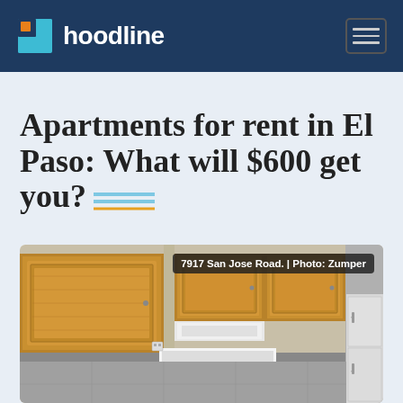hoodline
Apartments for rent in El Paso: What will $600 get you?
[Figure (photo): Kitchen interior showing wooden upper cabinets, white stove/range, and white refrigerator. Caption overlay reads: 7917 San Jose Road. | Photo: Zumper]